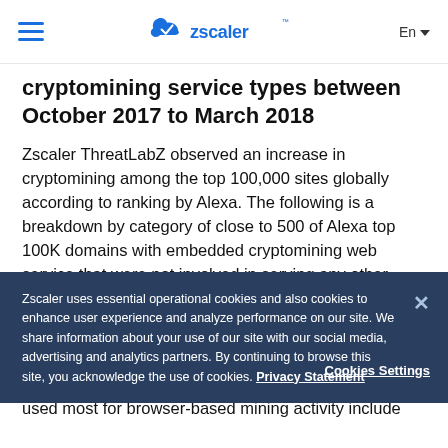Zscaler — En
cryptomining service types between October 2017 to March 2018
Zscaler ThreatLabZ observed an increase in cryptomining among the top 100,000 sites globally according to ranking by Alexa. The following is a breakdown by category of close to 500 of Alexa top 100K domains with embedded cryptomining web service that were not involved in serving any other malicious content.
Fig. 2 - Category distribution of Alexa top 100k sites with embedded cryptomining
As you can see, the category of domains that were used most for browser-based mining activity include
Zscaler uses essential operational cookies and also cookies to enhance user experience and analyze performance on our site. We share information about your use of our site with our social media, advertising and analytics partners. By continuing to browse this site, you acknowledge the use of cookies. Privacy Statement
Cookies Settings